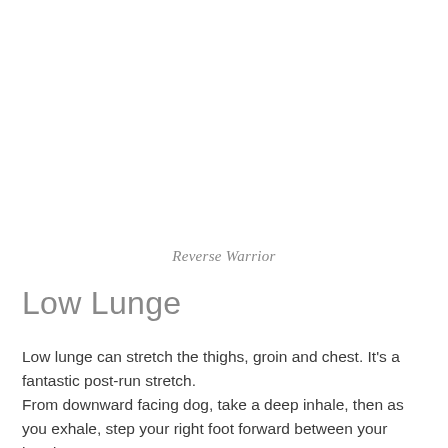Reverse Warrior
Low Lunge
Low lunge can stretch the thighs, groin and chest. It’s a fantastic post-run stretch.
From downward facing dog, take a deep inhale, then as you exhale, step your right foot forward between your hands.